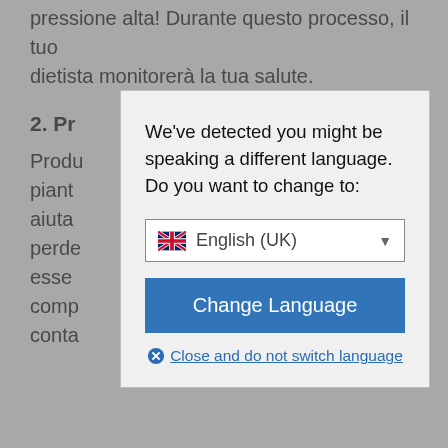pressione alta! Durante questo processo, il tuo dietista monitorerà la tua salute.
2. Pr
Produ piant e ci aiuta a perde esse comp ido, conta
[Figure (screenshot): A modal dialog box with language detection prompt. It says 'We've detected you might be speaking a different language. Do you want to change to:' with a dropdown showing a UK flag and 'English (UK)', a blue 'Change Language' button, and a 'Close and do not switch language' link.]
We h ves the best results is by far REDUSLIM. You can buy it here: Reduslim Original.
3. Tenere un diario alimentare